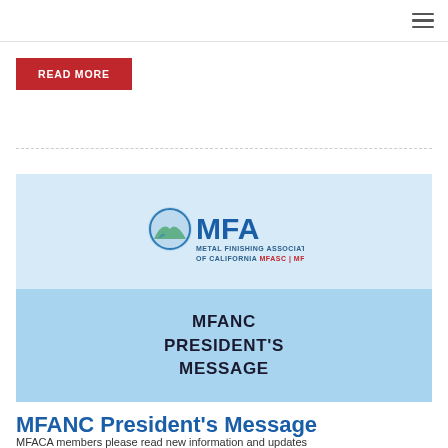Navigation bar with hamburger menu
READ MORE
[Figure (illustration): MFA (Metal Finishing Association of California MFASC | MFANC) logo on light blue background above a medium blue banner reading MFANC PRESIDENT'S MESSAGE]
MFANC President's Message
MFACA members please read new information and updates